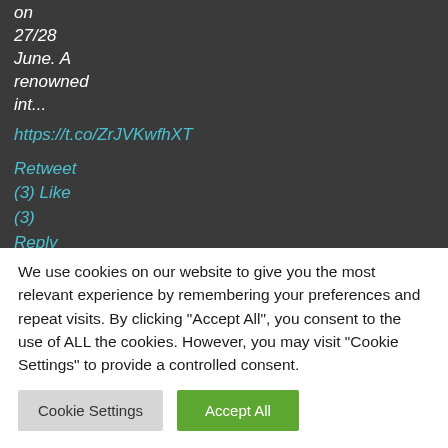on 27/28 June. A renowned int... https://t.co/ZrJVKwfhXT
Retweet
(3) Like
(3)
Reply
2
We use cookies on our website to give you the most relevant experience by remembering your preferences and repeat visits. By clicking “Accept All”, you consent to the use of ALL the cookies. However, you may visit “Cookie Settings” to provide a controlled consent.